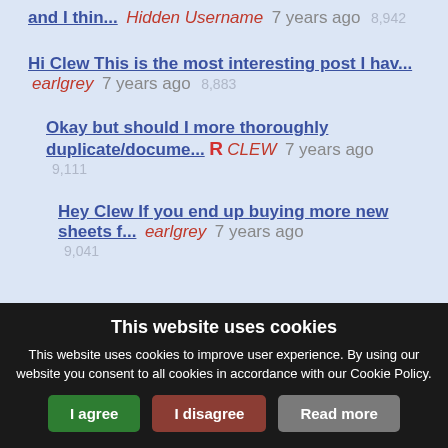and I thin... Hidden Username 7 years ago 8,942
Hi Clew This is the most interesting post I hav... earlgrey 7 years ago 8,883
Okay but should I more thoroughly duplicate/docume... R CLEW 7 years ago 9,111
Hey Clew If you end up buying more new sheets f... earlgrey 7 years ago 9,041
This website uses cookies
This website uses cookies to improve user experience. By using our website you consent to all cookies in accordance with our Cookie Policy.
I agree | I disagree | Read more